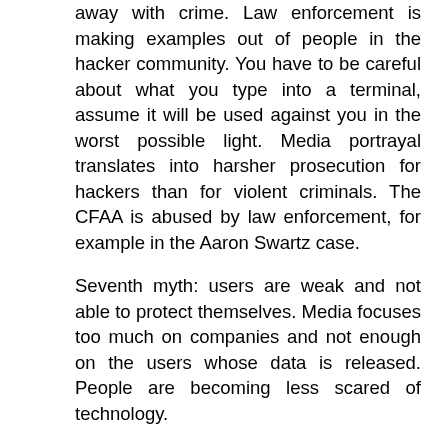away with crime. Law enforcement is making examples out of people in the hacker community. You have to be careful about what you type into a terminal, assume it will be used against you in the worst possible light. Media portrayal translates into harsher prosecution for hackers than for violent criminals. The CFAA is abused by law enforcement, for example in the Aaron Swartz case.
Seventh myth: users are weak and not able to protect themselves. Media focuses too much on companies and not enough on the users whose data is released. People are becoming less scared of technology.
Quinn moves on to common themes. One was a common objection to the way the word “hacker” is used in the media. The word is ambiguous, but has been used by the media in a much narrower and disagreeable way.
Women are underrepresented in the hacker